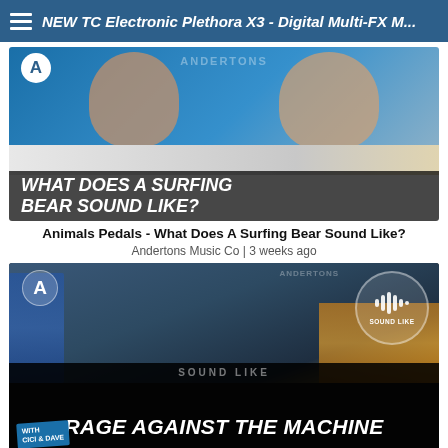NEW TC Electronic Plethora X3 - Digital Multi-FX M...
[Figure (screenshot): YouTube thumbnail for 'What Does A Surfing Bear Sound Like?' - two men looking upward with guitar pedals below, text overlay reads WHAT DOES A SURFING BEAR SOUND LIKE?]
Animals Pedals - What Does A Surfing Bear Sound Like?
Andertons Music Co | 3 weeks ago
[Figure (screenshot): YouTube thumbnail for Sound Like Rage Against the Machine - two people posing with guitars, with SOUND LIKE badge and text RAGE AGAINST THE MACHINE at bottom, with Cici & Dave branding]
Sound Like Rage Against the Machine | Without Busting The Bank